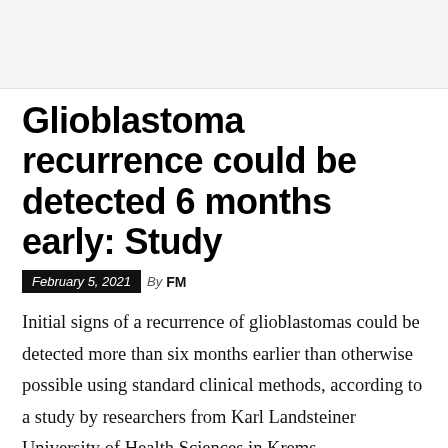[Figure (other): Gray header banner image area at top of page]
Glioblastoma recurrence could be detected 6 months early: Study
February 5, 2021  By FM
Initial signs of a recurrence of glioblastomas could be detected more than six months earlier than otherwise possible using standard clinical methods, according to a study by researchers from Karl Landsteiner University of Health Sciences in Krems.
In the first sentence that begins at the bottom of the page...